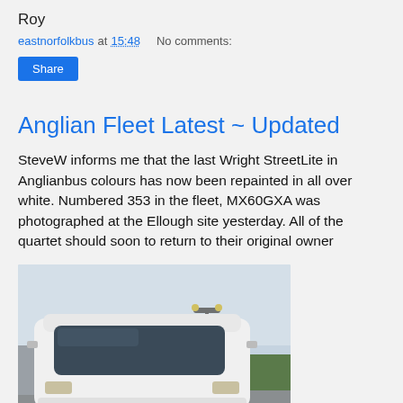Roy
eastnorfolkbus at 15:48   No comments:
Share
Anglian Fleet Latest ~ Updated
SteveW informs me that the last Wright StreetLite in Anglianbus colours has now been repainted in all over white. Numbered 353 in the fleet, MX60GXA was photographed at the Ellough site yesterday. All of the quartet should soon to return to their original owner
[Figure (photo): Front view of a white Wright StreetLite bus parked at an outdoor site, with a street lamp visible in the background and overcast sky.]